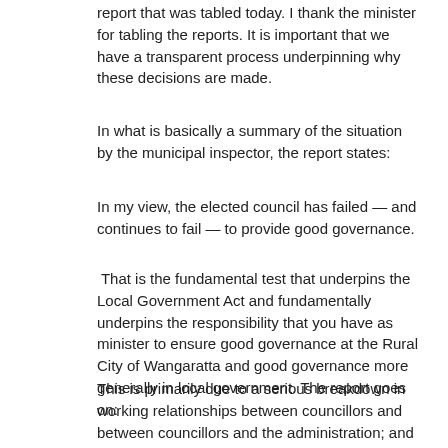report that was tabled today. I thank the minister for tabling the reports. It is important that we have a transparent process underpinning why these decisions are made.
In what is basically a summary of the situation by the municipal inspector, the report states:
In my view, the elected council has failed — and continues to fail — to provide good governance.
That is the fundamental test that underpins the Local Government Act and fundamentally underpins the responsibility that you have as minister to ensure good governance at the Rural City of Wangaratta and good governance more generally in local government. The report goes on:
This is primarily due to a serious breakdown in working relationships between councillors and between councillors and the administration; and an incapacity and unwillingness by councillors to accept that their collective behaviour needs to change. The conduct of a number of councillors is characterised by hostility and acrimonious behaviour; the denigration of staff and colleagues; and a lack of mutual respect and goodwill. The level of acrimony is such that the CEO and each member of the corporate